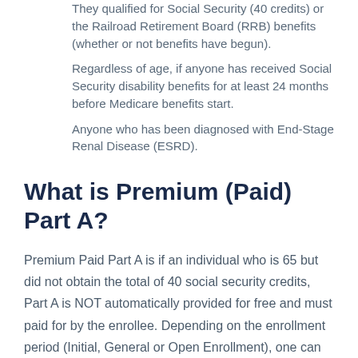They qualified for Social Security (40 credits) or the Railroad Retirement Board (RRB) benefits (whether or not benefits have begun).
Regardless of age, if anyone has received Social Security disability benefits for at least 24 months before Medicare benefits start.
Anyone who has been diagnosed with End-Stage Renal Disease (ESRD).
What is Premium (Paid) Part A?
Premium Paid Part A is if an individual who is 65 but did not obtain the total of 40 social security credits, Part A is NOT automatically provided for free and must paid for by the enrollee. Depending on the enrollment period (Initial, General or Open Enrollment), one can Apply for Medicare via the